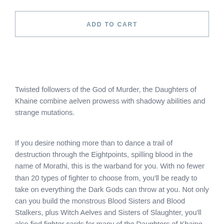ADD TO CART
Twisted followers of the God of Murder, the Daughters of Khaine combine aelven prowess with shadowy abilities and strange mutations.
If you desire nothing more than to dance a trail of destruction through the Eightpoints, spilling blood in the name of Morathi, this is the warband for you. With no fewer than 20 types of fighter to choose from, you'll be ready to take on everything the Dark Gods can throw at you. Not only can you build the monstrous Blood Sisters and Blood Stalkers, plus Witch Aelves and Sisters of Slaughter, you'll also find fighter cards for many of the Daughters of Khaine models.